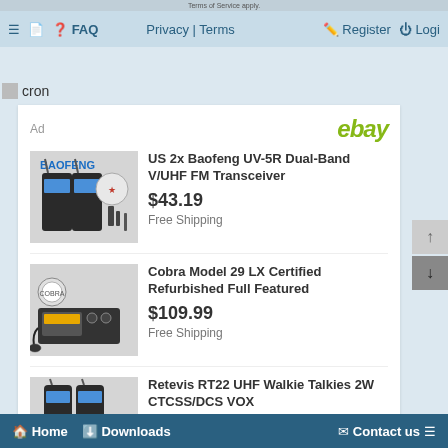Terms of Service apply.
≡  FAQ  Privacy | Terms  Register  Login
cron
Ad  ebay
[Figure (photo): Baofeng UV-5R dual band radio with accessories]
US 2x Baofeng UV-5R Dual-Band V/UHF FM Transceiver
$43.19
Free Shipping
[Figure (photo): Cobra Model 29 LX CB radio with microphone]
Cobra Model 29 LX Certified Refurbished Full Featured
$109.99
Free Shipping
[Figure (photo): Retevis RT22 UHF Walkie Talkies]
Retevis RT22 UHF Walkie Talkies 2W CTCSS/DCS VOX
$29.99
Free Shipping
Home  Downloads  Contact us